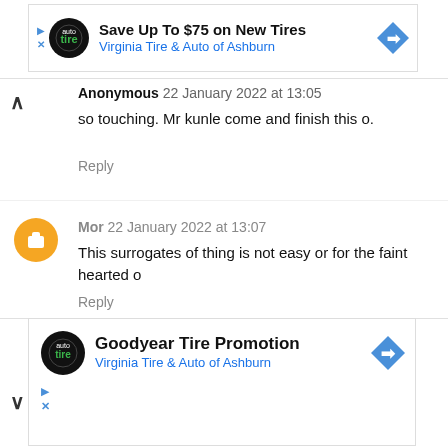[Figure (other): Advertisement banner: Save Up To $75 on New Tires - Virginia Tire & Auto of Ashburn]
Anonymous 22 January 2022 at 13:05
so touching. Mr kunle come and finish this o.
Reply
Mor 22 January 2022 at 13:07
This surrogates of thing is not easy or for the faint hearted o
Reply
candiy 22 January 2022 at 13:09
[Figure (other): Advertisement banner: Goodyear Tire Promotion - Virginia Tire & Auto of Ashburn]